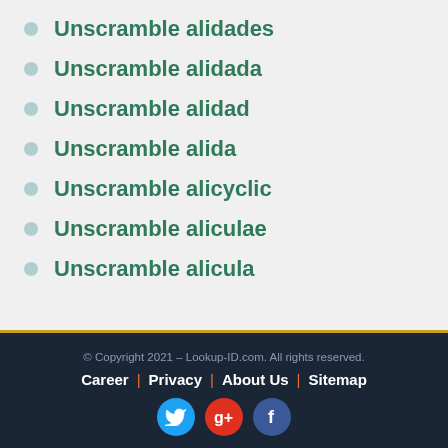Unscramble alidades
Unscramble alidada
Unscramble alidad
Unscramble alida
Unscramble alicyclic
Unscramble aliculae
Unscramble alicula
© Copyright 2021 – Lookup-ID.com. All rights reserved. | Career | Privacy | About Us | Sitemap